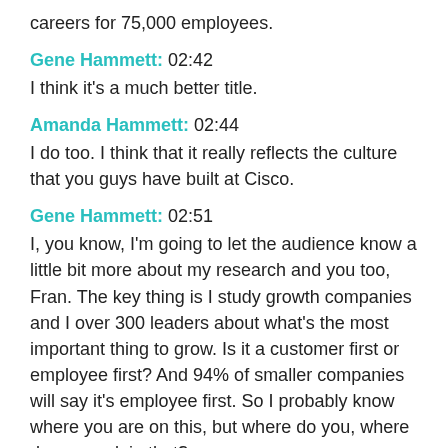careers for 75,000 employees.
Gene Hammett: 02:42
I think it's a much better title.
Amanda Hammett: 02:44
I do too. I think that it really reflects the culture that you guys have built at Cisco.
Gene Hammett: 02:51
I, you know, I'm going to let the audience know a little bit more about my research and you too, Fran. The key thing is I study growth companies and I over 300 leaders about what's the most important thing to grow. Is it a customer first or employee first? And 94% of smaller companies will say it's employee first. So I probably know where you are on this, but where do you, where do you rank in that?